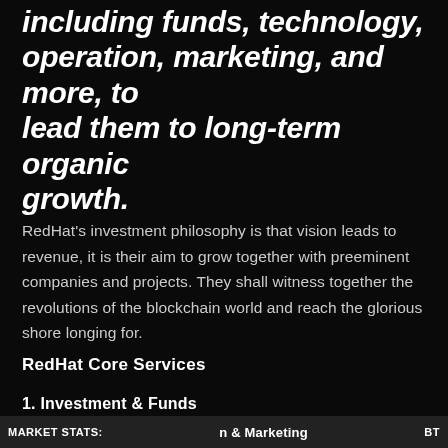including funds, technology, operation, marketing, and more, to lead them to long-term organic growth.
RedHat's investment philosophy is that vision leads to revenue, it is their aim to grow together with preeminent companies and projects. They shall witness together the revolutions of the blockchain world and reach the glorious shore longing for.
RedHat Core Services
1. Investment & Funds
MARKET STATS:    n & Marketing    BT